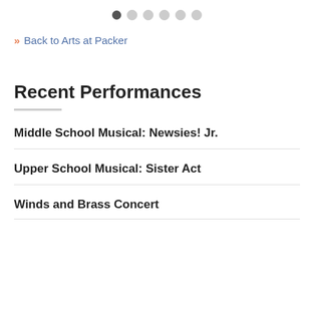[Figure (other): Pagination dots indicator with 6 dots, first one filled dark]
» Back to Arts at Packer
Recent Performances
Middle School Musical: Newsies! Jr.
Upper School Musical: Sister Act
Winds and Brass Concert